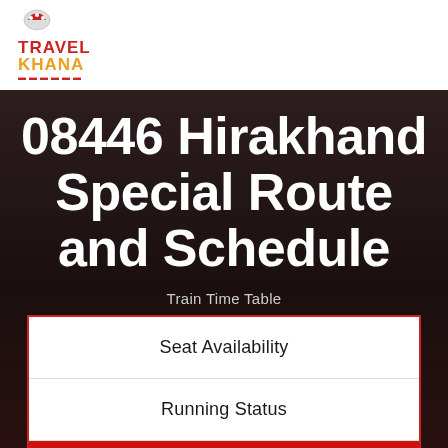Travel Khana
08446 Hirakhand Special Route and Schedule
Train Time Table
Seat Availability
Running Status
Time Table